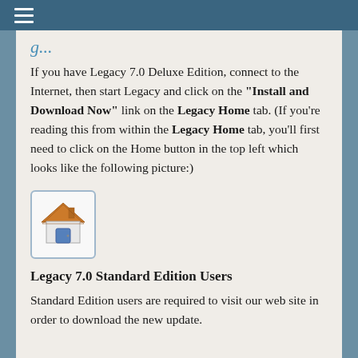≡
If you have Legacy 7.0 Deluxe Edition, connect to the Internet, then start Legacy and click on the "Install and Download Now" link on the Legacy Home tab. (If you're reading this from within the Legacy Home tab, you'll first need to click on the Home button in the top left which looks like the following picture:)
[Figure (illustration): A house icon button with an orange/brown roof, blue door, and white background, inside a rounded rectangle button with a light blue border.]
Legacy 7.0 Standard Edition Users
Standard Edition users are required to visit our web site in order to download the new update.